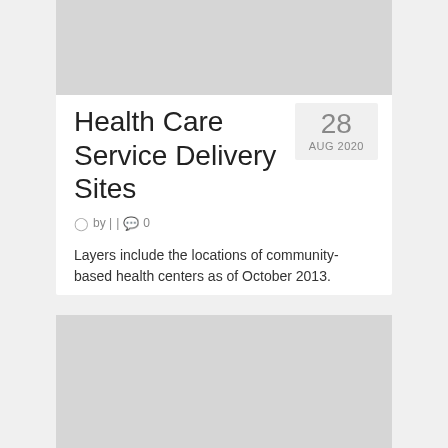[Figure (photo): Gray placeholder image at top of first card]
Health Care Service Delivery Sites
by |  |  0
Layers include the locations of community-based health centers as of October 2013.
[Figure (photo): Gray placeholder image at top of second card, partially visible]